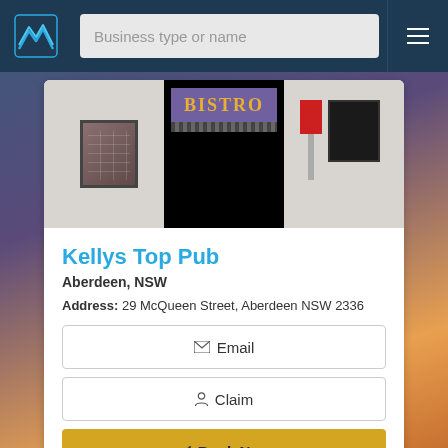Business type or name
[Figure (photo): Exterior photo of Kellys Top Pub / Bistro building facade, showing a purple Bistro sign above the entrance, awning, left window, right window, red pole sign]
Kellys Top Pub
Aberdeen, NSW
Address: 29 McQueen Street, Aberdeen NSW 2336
Email
Claim
Book Now